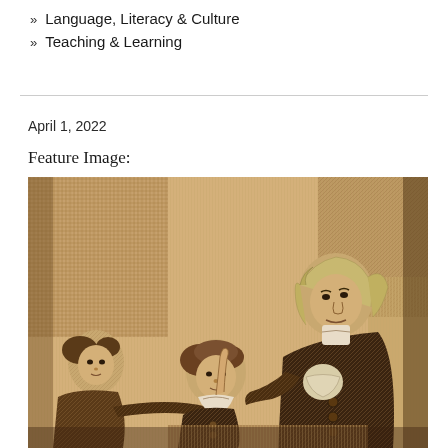» Language, Literacy & Culture
» Teaching & Learning
April 1, 2022
Feature Image:
[Figure (illustration): An antique engraving in sepia/brown tones showing a teacher or tutor standing on the right, pointing upward with one finger, instructing two young students seated or standing before him. The scene appears to be from the 18th century, rendered in a cross-hatched engraving style.]